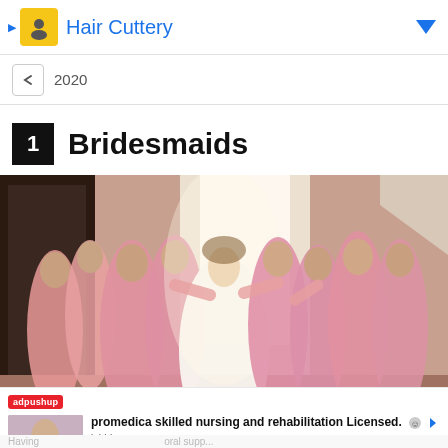Hair Cuttery
2020
1 Bridesmaids
[Figure (photo): Group of bridesmaids in pink dresses surrounding a bride in a white gown near a window, some reflected in a mirror]
adpushup
promedica skilled nursing and rehabilitation Licensed.
jobble.com
Having
Sponsored
oral supp...